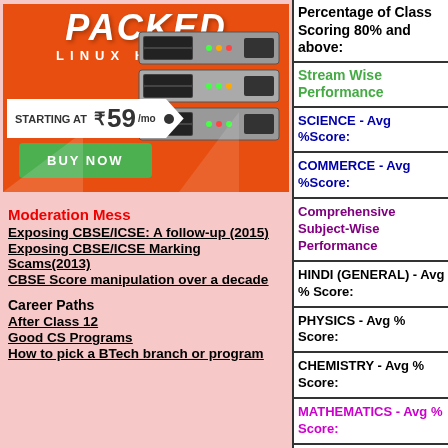[Figure (infographic): Advertisement banner for Linux Hosting - PACKED branding, server image, price starting at ₹59/mo, BUY NOW button on orange background]
Moderation Mess
Exposing CBSE/ICSE: A follow-up (2015)
Exposing CBSE/ICSE Marking Scams(2013)
CBSE Score manipulation over a decade
Career Paths
After Class 12
Good CS Programs
How to pick a BTech branch or program
Percentage of Class Scoring 80% and above:
Stream Wise Performance
SCIENCE - Avg %Score:
COMMERCE - Avg %Score:
Comprehensive Subject-Wise Performance
HINDI (GENERAL) - Avg % Score:
PHYSICS - Avg % Score:
CHEMISTRY - Avg % Score:
MATHEMATICS - Avg % Score:
REMAINING OTHER ACTIVITY